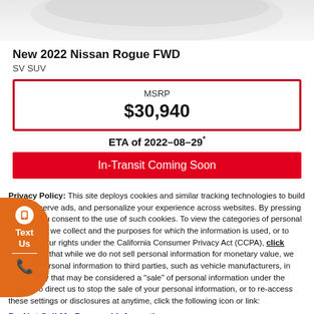[Figure (photo): Partial view of a white Nissan Rogue SUV from above]
New 2022 Nissan Rogue FWD
SV SUV
| MSRP |
| --- |
| $30,940 |
ETA of 2022-08-29*
In-Transit Coming Soon
Privacy Policy: This site deploys cookies and similar tracking technologies to build profiles, serve ads, and personalize your experience across websites. By pressing accept, you consent to the use of such cookies. To view the categories of personal information we collect and the purposes for which the information is used, or to exercise your rights under the California Consumer Privacy Act (CCPA), click here. Note that while we do not sell personal information for monetary value, we disclose personal information to third parties, such as vehicle manufacturers, in such a way that may be considered a "sale" of personal information under the CCPA. To direct us to stop the sale of your personal information, or to re-access these settings or disclosures at anytime, click the following icon or link:
Do Not Sell My Personal Information
Language:  English
Powered by ComplyAuto
Accept and Continue →
California Privacy Disclosures